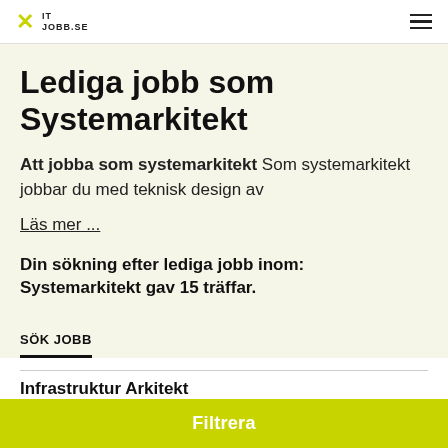IT JOBB.SE
Lediga jobb som Systemarkitekt
Att jobba som systemarkitekt Som systemarkitekt jobbar du med teknisk design av
Läs mer ...
Din sökning efter lediga jobb inom: Systemarkitekt gav 15 träffar.
SÖK JOBB
Infrastruktur Arkitekt
Filtrera